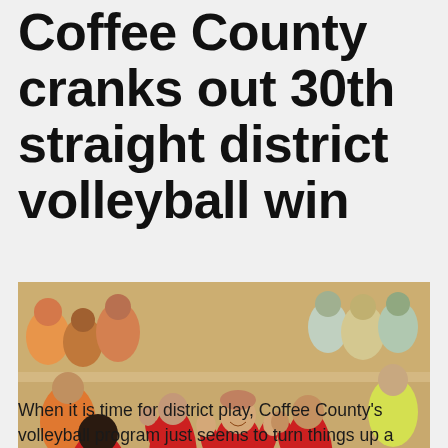Coffee County cranks out 30th straight district volleyball win
[Figure (photo): Coffee County volleyball players in red and black uniforms waving and smiling during a post-game celebration on the court, with spectators visible in the background.]
When it is time for district play, Coffee County's volleyball program just seems to turn things up a